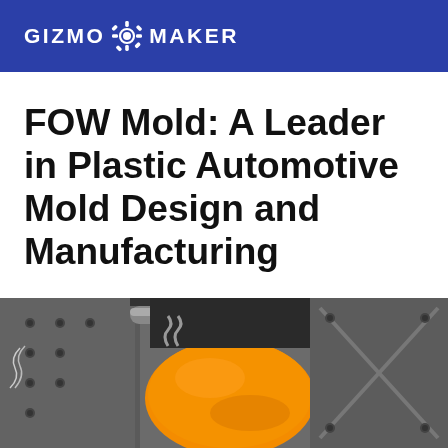GIZMO MAKER
FOW Mold: A Leader in Plastic Automotive Mold Design and Manufacturing
[Figure (photo): Industrial manufacturing equipment showing an orange plastic automotive mold component mounted on machinery, with metal fixtures, bolts, and industrial equipment visible in the background.]